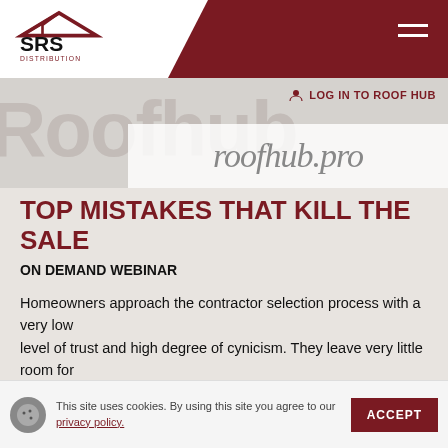[Figure (logo): SRS Distribution logo with roof icon in dark red/maroon, on white background with dark red diagonal banner]
LOG IN TO ROOF HUB
[Figure (screenshot): Roofhub banner showing large faded 'Roofhub' text and roofhub.pro in white box]
TOP MISTAKES THAT KILL THE SALE
ON DEMAND WEBINAR
Homeowners approach the contractor selection process with a very low level of trust and high degree of cynicism. They leave very little room for error and they're rarely willing to take you for your word when you tell
This site uses cookies. By using this site you agree to our privacy policy.